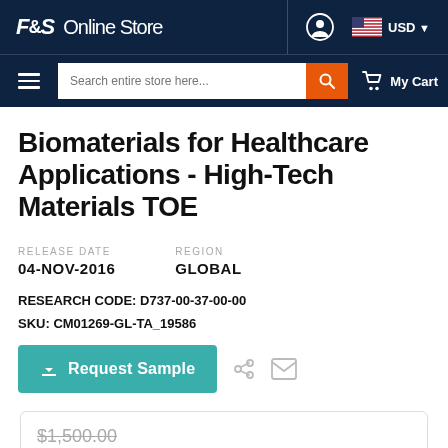F&S Online Store   USD
Biomaterials for Healthcare Applications - High-Tech Materials TOE
RELEASE DATE
04-NOV-2016
REGION
GLOBAL
RESEARCH CODE: D737-00-37-00-00
SKU: CM01269-GL-TA_19586
Request Sample
$1,500.00